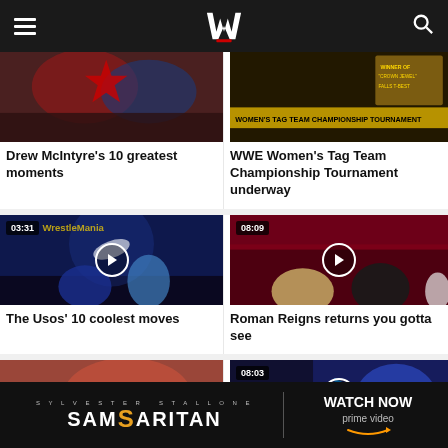WWE
[Figure (screenshot): Drew McIntyre wrestling action photo]
Drew McIntyre's 10 greatest moments
[Figure (screenshot): WWE Women's Tag Team Championship Tournament promo graphic]
WWE Women's Tag Team Championship Tournament underway
[Figure (screenshot): Video thumbnail 03:31 - The Usos at WrestleMania with play button overlay]
The Usos' 10 coolest moves
[Figure (screenshot): Video thumbnail 08:09 - Roman Reigns returns with Brock Lesnar with play button overlay]
Roman Reigns returns you gotta see
[Figure (screenshot): Gallery thumbnail - partial image of wrestler]
[Figure (screenshot): Video thumbnail 08:03 - wrestler with play button overlay]
[Figure (screenshot): Samaritan - Sylvester Stallone - Watch Now on Prime Video advertisement banner]